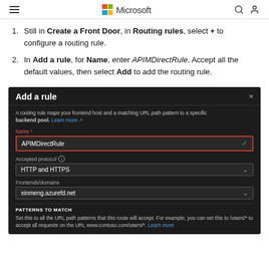Microsoft
Still in Create a Front Door, in Routing rules, select + to configure a routing rule.
In Add a rule, for Name, enter APIMDirectRule. Accept all the default values, then select Add to add the routing rule.
[Figure (screenshot): Screenshot of Azure portal 'Add a rule' dialog with dark theme. Shows Name field filled with 'APIMDirectRule' (highlighted with red border), Accepted protocol dropdown set to 'HTTP and HTTPS', Frontends/domains dropdown set to 'xinmeng.azurefd.net', and a PATTERNS TO MATCH section.]